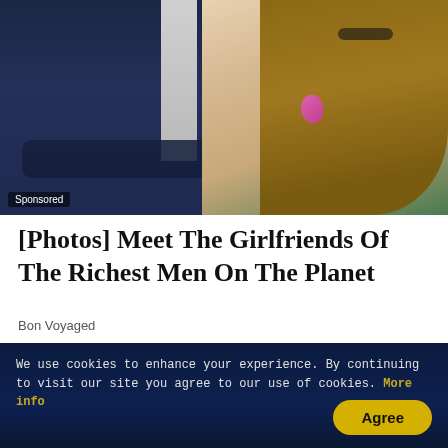[Figure (photo): Two people seated at what appears to be Wimbledon: a man in a navy suit with grey tie on the left, and a woman with long brown hair wearing a beige outfit with a pink flower on the right. Green background visible at top.]
Sponsored
[Photos] Meet The Girlfriends Of The Richest Men On The Planet
Bon Voyaged
[Figure (photo): Thumbnail photo of a blonde woman smiling, appearing to be Elisabeth Shue.]
Sponsored
[Gallery] At 56, Elisabeth Shue Leaves Nothing To The Imagination
Loves Ranker
We use cookies to enhance your experience. By continuing to visit our site you agree to our use of cookies. More info